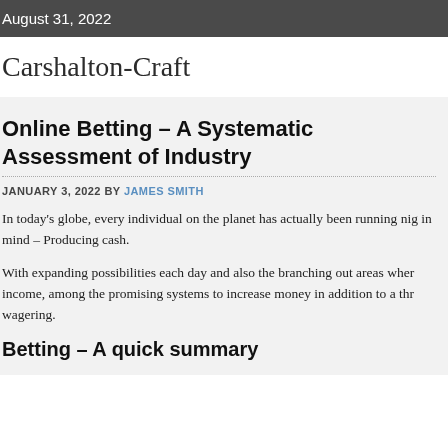August 31, 2022
Carshalton-Craft
Online Betting – A Systematic Assessment of Industry
JANUARY 3, 2022 BY JAMES SMITH
In today's globe, every individual on the planet has actually been running nig in mind – Producing cash.
With expanding possibilities each day and also the branching out areas wher income, among the promising systems to increase money in addition to a thr wagering.
Betting – A quick summary